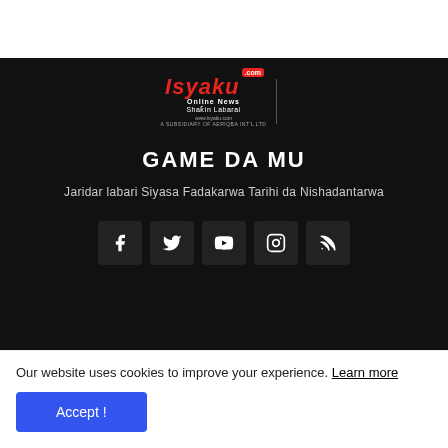[Figure (logo): Isyaku.com Online News logo with red text and white subtitle, A Subsidiary of Aeriqba Int'l Ltd]
GAME DA MU
Jaridar labari Siyasa Fadakarwa Tarihi da Nishadantarwa
[Figure (other): Social media icons: Facebook, Twitter, YouTube, Instagram, RSS]
Copyright © 2022 Isyaku News Online | Labaran Duniya - Nigeria
Our website uses cookies to improve your experience. Learn more
Accept !